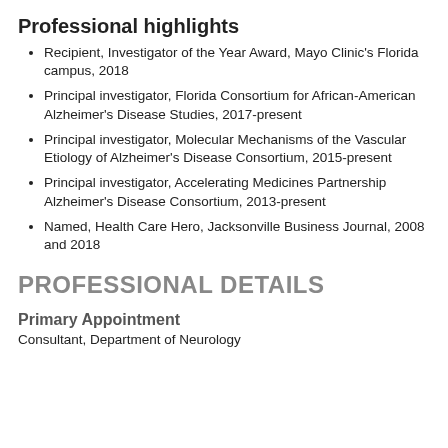Professional highlights
Recipient, Investigator of the Year Award, Mayo Clinic's Florida campus, 2018
Principal investigator, Florida Consortium for African-American Alzheimer's Disease Studies, 2017-present
Principal investigator, Molecular Mechanisms of the Vascular Etiology of Alzheimer's Disease Consortium, 2015-present
Principal investigator, Accelerating Medicines Partnership Alzheimer's Disease Consortium, 2013-present
Named, Health Care Hero, Jacksonville Business Journal, 2008 and 2018
PROFESSIONAL DETAILS
Primary Appointment
Consultant, Department of Neurology